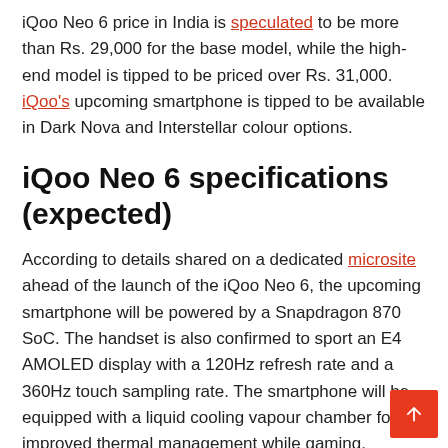iQoo Neo 6 price in India is speculated to be more than Rs. 29,000 for the base model, while the high-end model is tipped to be priced over Rs. 31,000. iQoo's upcoming smartphone is tipped to be available in Dark Nova and Interstellar colour options.
iQoo Neo 6 specifications (expected)
According to details shared on a dedicated microsite ahead of the launch of the iQoo Neo 6, the upcoming smartphone will be powered by a Snapdragon 870 SoC. The handset is also confirmed to sport an E4 AMOLED display with a 120Hz refresh rate and a 360Hz touch sampling rate. The smartphone will be equipped with a liquid cooling vapour chamber for improved thermal management while gaming.